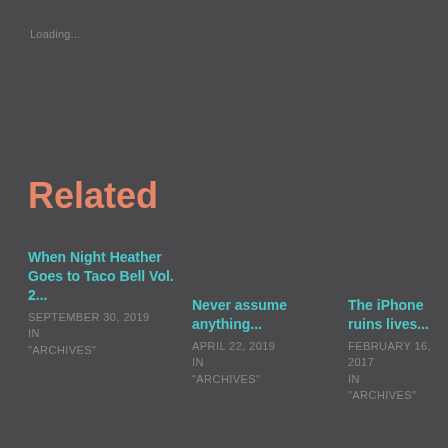Loading...
Related
When Night Heather Goes to Taco Bell Vol. 2...
SEPTEMBER 30, 2019
IN "ARCHIVES"
Never assume anything...
APRIL 22, 2019
IN "ARCHIVES"
The iPhone ruins lives...
FEBRUARY 16, 2017
IN "ARCHIVES"